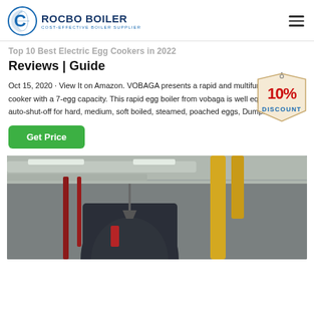ROCBO BOILER — COST-EFFECTIVE BOILER SUPPLIER
Top 10 Best Electric Egg Cookers in 2022 Reviews | Guide
Oct 15, 2020 · View It on Amazon. VOBAGA presents a rapid and multifunctional egg cooker with a 7-egg capacity. This rapid egg boiler from vobaga is well equipped with auto-shut-off for hard, medium, soft boiled, steamed, poached eggs, Dumpling
[Figure (infographic): 10% DISCOUNT badge — red text on a cream/tan tag shape with string]
[Figure (photo): Interior of an industrial boiler room showing a large dark cylindrical boiler unit with yellow gas pipes and insulated silver pipes running along the ceiling]